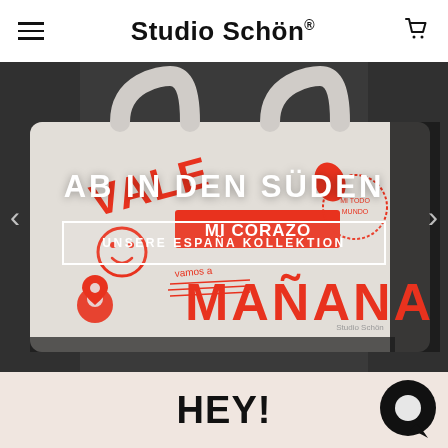Studio Schön®
[Figure (photo): Photo of a white canvas tote bag with Spanish-themed red graphic prints including text 'VALE', 'MI CORAZO', 'MAÑANA', and various icons, placed on a dark asphalt surface. Black and white background with the bag in color.]
AB IN DEN SÜDEN
UNSERE ESPAÑA KOLLEKTION
HEY!